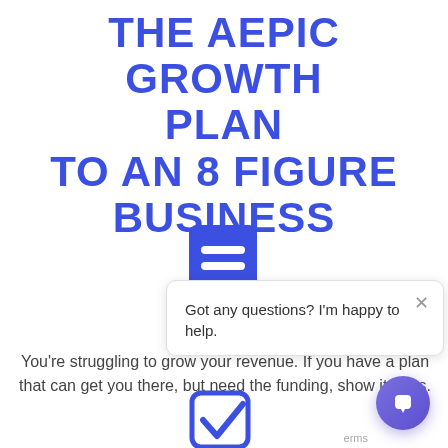THE AEPIC GROWTH PLAN TO AN 8 FIGURE BUSINESS
[Figure (illustration): Blue book/document icon with two horizontal lines representing text]
You're struggling to grow your revenue. If you have a plan that can get you there, but need the funding, show it to us.
[Figure (screenshot): Chat popup overlay: 'Got any questions? I'm happy to help.' with a close X button]
[Figure (illustration): Blue checkbox icon with checkmark, partially visible at bottom]
erms